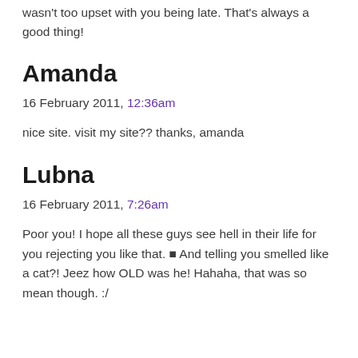wasn't too upset with you being late. That's always a good thing!
Amanda
16 February 2011, 12:36am
nice site. visit my site?? thanks, amanda
Lubna
16 February 2011, 7:26am
Poor you! I hope all these guys see hell in their life for you rejecting you like that. ■ And telling you smelled like a cat?! Jeez how OLD was he! Hahaha, that was so mean though. :/